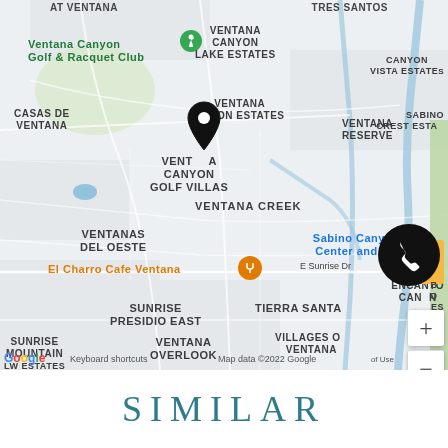[Figure (map): Google Maps screenshot showing area around Ventana Canyon Golf Villas in Tucson, AZ. Shows neighborhood labels including Ventana Canyon Golf & Racquet Club, Ventana Canyon Lake Estates, Ventana Canyon Estates, Ventana Reserve, Canyon Vista Estates, Casas De Ventana, Ventana Canyon Golf Villas (with black location pin), Ventana Creek, Ventanas Del Oeste, Sabino Canyon Center, El Charro Cafe Ventana (orange restaurant pin), E Sunrise Dr, Sunrise Presidio East, Tierra Santa, Villages of Ventana, Ventana Overlook, Sunrise Mountain Estates. Map controls show + zoom in, - zoom out, pegman icon, and a phone contact button. Google logo and 'Keyboard shortcuts | Map data ©2022 Google' attribution at bottom.]
SIMILAR